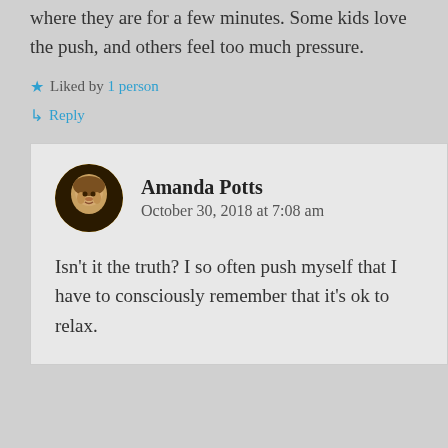where they are for a few minutes. Some kids love the push, and others feel too much pressure.
Liked by 1 person
Reply
Amanda Potts
October 30, 2018 at 7:08 am
Isn't it the truth? I so often push myself that I have to consciously remember that it's ok to relax.